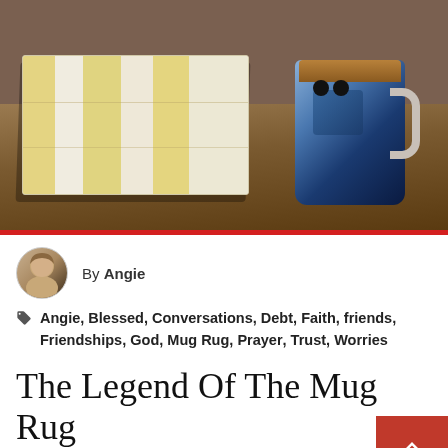[Figure (photo): A photo of a quilted mug rug (small patchwork mat with yellow and white stripes) on a wooden table, with a blue Mickey Mouse coffee mug containing hot coffee placed on it.]
By Angie
Angie, Blessed, Conversations, Debt, Faith, friends, Friendships, God, Mug Rug, Prayer, Trust, Worries
The Legend Of The Mug Rug
A little while back, I discovered a fun little blo...